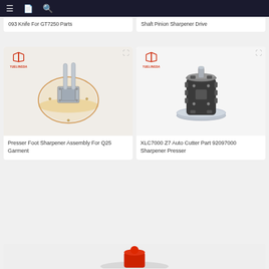Navigation bar with menu, bookmark, and search icons
093 Knife For GT7250 Parts
Shaft Pinion Sharpener Drive
[Figure (photo): Presser Foot Sharpener Assembly mechanical part with circular metal plate and two vertical rods, shown with brand logo YUELINGDA]
Presser Foot Sharpener Assembly For Q25 Garment
[Figure (photo): XLC7000 Z7 Auto Cutter Part 92097000 Sharpener Presser - cylindrical gear assembly on circular base, shown with brand logo YUELINGDA]
XLC7000 Z7 Auto Cutter Part 92097000 Sharpener Presser
[Figure (photo): Partial view of another product at the bottom of the page]